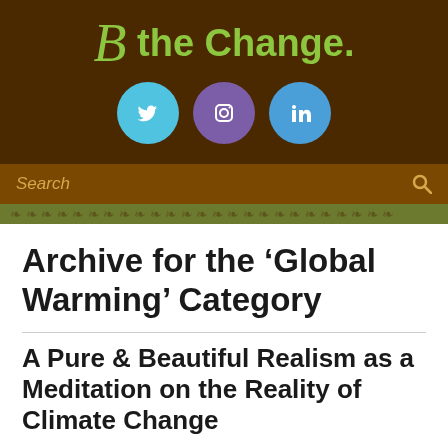B the Change.
[Figure (logo): Social media icons: Twitter (teal circle), Instagram (purple circle), LinkedIn (blue circle)]
Search
Archive for the 'Global Warming' Category
A Pure & Beautiful Realism as a Meditation on the Reality of Climate Change
August 25th, 2016 by Bita Milanian - 0 Comments
Fine Artist Zaria Forman's Quiet & Powerful Activism